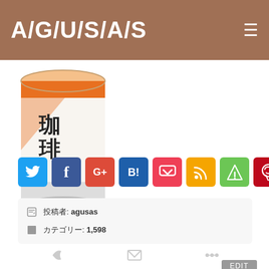A/G/U/S/A/S
[Figure (photo): A round tin can of Japanese coffee (珈琲) with orange and white design, branded 大和屋, photographed on white background.]
[Figure (infographic): Row of 8 social sharing buttons: Twitter (blue bird), Facebook (blue f), Google+ (red G+), Hatena Bookmark (blue B!), Pocket (red), RSS (orange), Feedly (green), Pinterest (red pinterest icon)]
投稿者: agusas
カテゴリー: 1,598